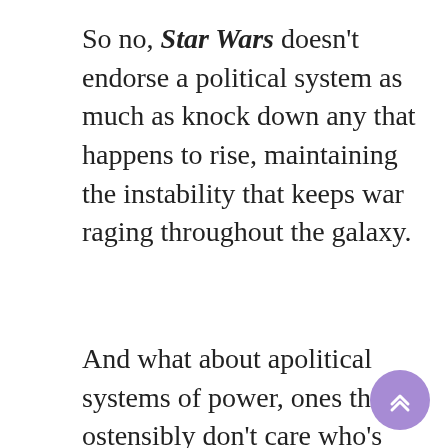So no, Star Wars doesn't endorse a political system as much as knock down any that happens to rise, maintaining the instability that keeps war raging throughout the galaxy.
And what about apolitical systems of power, ones that ostensibly don't care who's ruling as long as they get their slice? Well, there's the Jedi, who've been held up as a beacon of hope for much of the series but have also been messing up the entire time. In the prequels, they were a firmly established power, enforcing peace throughout the galaxy and overseen by a council with loose ties to the Republic. Fearful that Anakin Skywalker, prophesied to bring